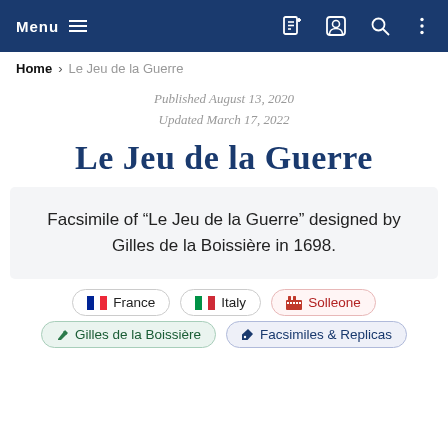Menu (navigation bar)
Home > Le Jeu de la Guerre
Published August 13, 2020
Updated March 17, 2022
Le Jeu de la Guerre
Facsimile of “Le Jeu de la Guerre” designed by Gilles de la Boissière in 1698.
France
Italy
Solleone
Gilles de la Boissière
Facsimiles & Replicas